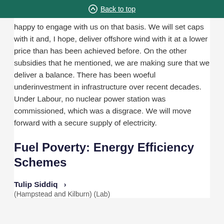Back to top
happy to engage with us on that basis. We will set caps with it and, I hope, deliver offshore wind with it at a lower price than has been achieved before. On the other subsidies that he mentioned, we are making sure that we deliver a balance. There has been woeful underinvestment in infrastructure over recent decades. Under Labour, no nuclear power station was commissioned, which was a disgrace. We will move forward with a secure supply of electricity.
Fuel Poverty: Energy Efficiency Schemes
Tulip Siddiq ›
(Hampstead and Kilburn) (Lab)